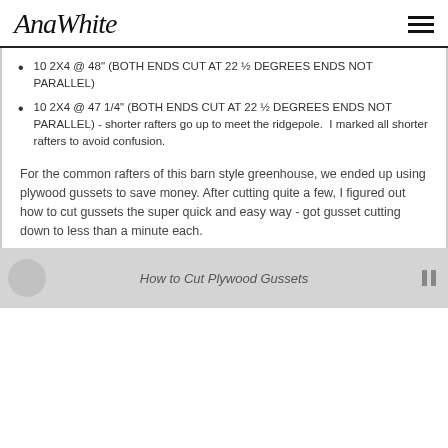AnaWhite
10 2X4 @ 48" (BOTH ENDS CUT AT 22 ½ DEGREES ENDS NOT PARALLEL)
10 2X4 @ 47 1/4" (BOTH ENDS CUT AT 22 ½ DEGREES ENDS NOT PARALLEL) - shorter rafters go up to meet the ridgepole.  I marked all shorter rafters to avoid confusion.
For the common rafters of this barn style greenhouse, we ended up using plywood gussets to save money. After cutting quite a few, I figured out how to cut gussets the super quick and easy way - got gusset cutting down to less than a minute each.
[Figure (screenshot): Video thumbnail showing 'How to Cut Plywood Gussets' with a partially visible person and play button overlay]